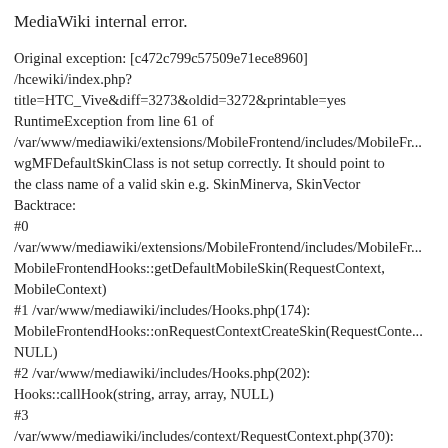MediaWiki internal error.
Original exception: [c472c799c57509e71ece8960] /hcewiki/index.php?title=HTC_Vive&diff=3273&oldid=3272&printable=yes RuntimeException from line 61 of /var/www/mediawiki/extensions/MobileFrontend/includes/MobileFr... wgMFDefaultSkinClass is not setup correctly. It should point to the class name of a valid skin e.g. SkinMinerva, SkinVector Backtrace:
#0
/var/www/mediawiki/extensions/MobileFrontend/includes/MobileFr...
MobileFrontendHooks::getDefaultMobileSkin(RequestContext, MobileContext)
#1 /var/www/mediawiki/includes/Hooks.php(174): MobileFrontendHooks::onRequestContextCreateSkin(RequestConte... NULL)
#2 /var/www/mediawiki/includes/Hooks.php(202): Hooks::callHook(string, array, array, NULL)
#3
/var/www/mediawiki/includes/context/RequestContext.php(370): Hooks::run(string, array)
#4 /var/www/mediawiki/includes/parser/ParserOutput.php(332): RequestContext->getSkin()
#5 [internal function]: ParserOutput->{closure}(array)